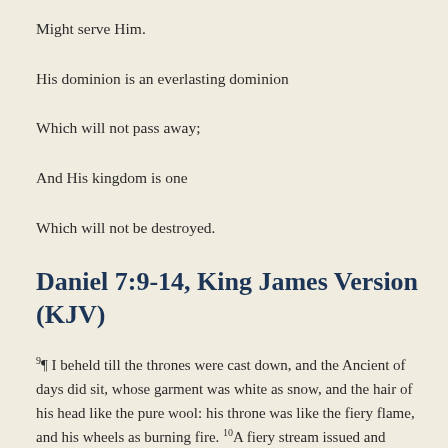Might serve Him.
His dominion is an everlasting dominion
Which will not pass away;
And His kingdom is one
Which will not be destroyed.
Daniel 7:9-14, King James Version (KJV)
9¶ I beheld till the thrones were cast down, and the Ancient of days did sit, whose garment was white as snow, and the hair of his head like the pure wool: his throne was like the fiery flame, and his wheels as burning fire. 10A fiery stream issued and came forth from before him: thousand thousands ministered unto him,